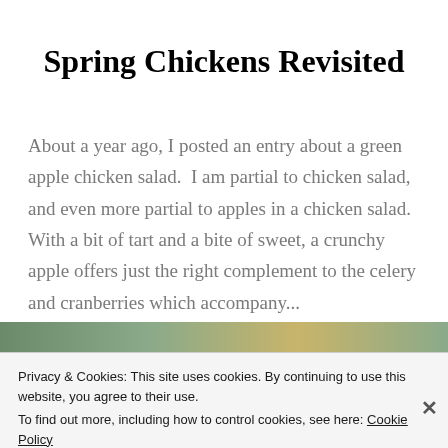Spring Chickens Revisited
About a year ago, I posted an entry about a green apple chicken salad.  I am partial to chicken salad, and even more partial to apples in a chicken salad. With a bit of tart and a bite of sweet, a crunchy apple offers just the right complement to the celery and cranberries which accompany...
READ MORE
Privacy & Cookies: This site uses cookies. By continuing to use this website, you agree to their use.
To find out more, including how to control cookies, see here: Cookie Policy
Close and accept